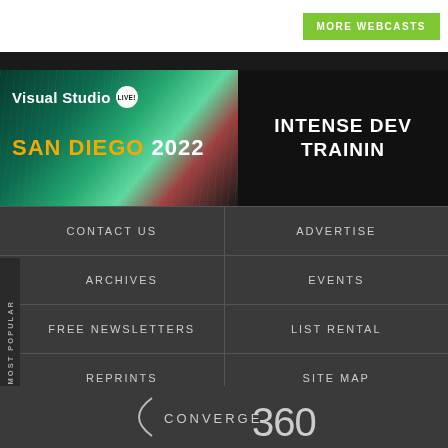[Figure (screenshot): MORE WEBCASTS green button in top-right area]
[Figure (screenshot): Visual Studio LIVE! San Diego 2022 banner ad with teal/green background and INTENSE DEV TRAINING text on right]
| Col1 | Col2 |
| --- | --- |
| CONTACT US | ADVERTISE |
| ARCHIVES | EVENTS |
| FREE NEWSLETTERS | LIST RENTAL |
| REPRINTS | SITE MAP |
[Figure (logo): Converge 360 logo with arc bracket and large 360 numeral]